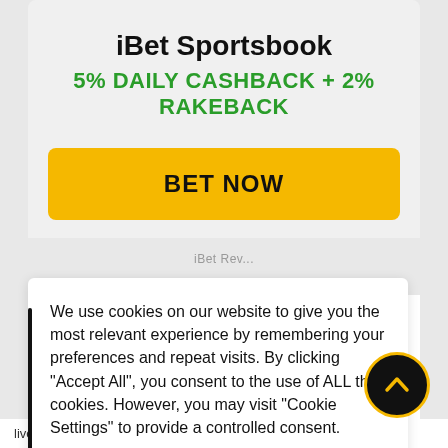iBet Sportsbook
5% DAILY CASHBACK + 2% RAKEBACK
BET NOW
We use cookies on our website to give you the most relevant experience by remembering your preferences and repeat visits. By clicking "Accept All", you consent to the use of ALL the cookies. However, you may visit "Cookie Settings" to provide a controlled consent.
Cookie Settings
Accept All
book
REE BE
arkets and also has
live streaming for some of the matches. Their odds on Football and